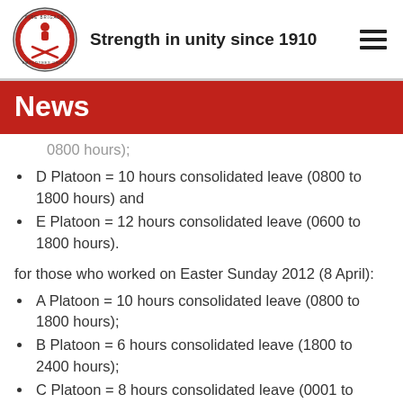Strength in unity since 1910
News
0800 hours);
D Platoon = 10 hours consolidated leave (0800 to 1800 hours) and
E Platoon = 12 hours consolidated leave (0600 to 1800 hours).
for those who worked on Easter Sunday 2012 (8 April):
A Platoon = 10 hours consolidated leave (0800 to 1800 hours);
B Platoon = 6 hours consolidated leave (1800 to 2400 hours);
C Platoon = 8 hours consolidated leave (0001 to 0800 hours) and